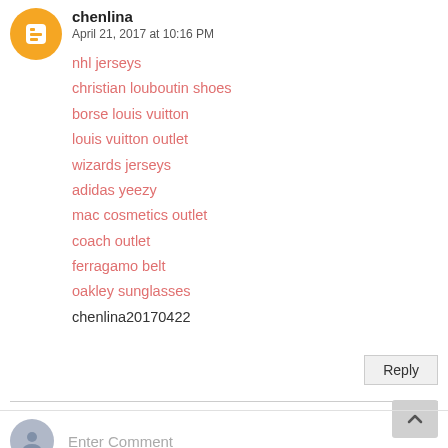chenlina
April 21, 2017 at 10:16 PM
nhl jerseys
christian louboutin shoes
borse louis vuitton
louis vuitton outlet
wizards jerseys
adidas yeezy
mac cosmetics outlet
coach outlet
ferragamo belt
oakley sunglasses
chenlina20170422
Reply
Enter Comment